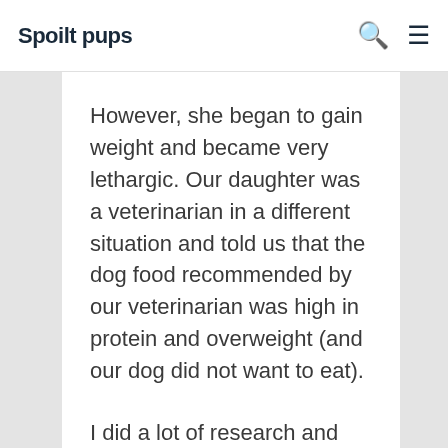Spoilt pups
However, she began to gain weight and became very lethargic. Our daughter was a veterinarian in a different situation and told us that the dog food recommended by our veterinarian was high in protein and overweight (and our dog did not want to eat).
I did a lot of research and decided to try this food for dogs. We want the